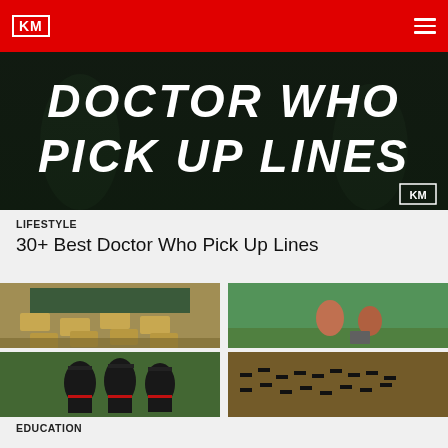KM
[Figure (photo): Dark background image with bold white text reading DOCTOR WHO PICK UP LINES with KM logo badge in bottom right corner]
LIFESTYLE
30+ Best Doctor Who Pick Up Lines
[Figure (photo): 2x2 grid of education-themed photos: top-left classroom with desks, top-right students outdoors with laptop, bottom-left three female graduates in caps and gowns, bottom-right large graduation ceremony crowd]
EDUCATION